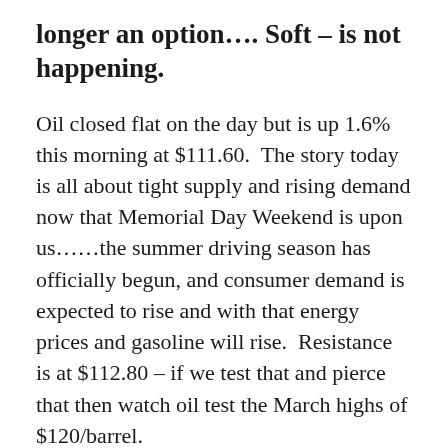longer an option…. Soft – is not happening.
Oil closed flat on the day but is up 1.6% this morning at $111.60.  The story today is all about tight supply and rising demand now that Memorial Day Weekend is upon us……the summer driving season has officially begun, and consumer demand is expected to rise and with that energy prices and gasoline will rise.  Resistance is at $112.80 – if we test that and pierce that then watch oil test the March highs of $120/barrel.